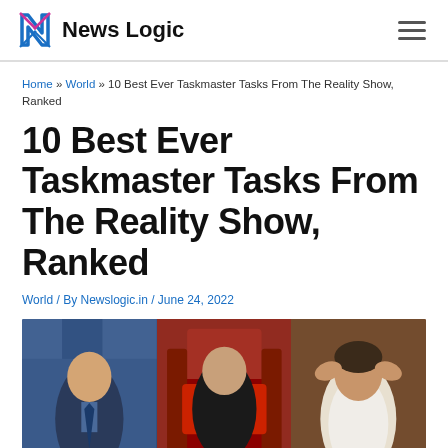News Logic
Home » World » 10 Best Ever Taskmaster Tasks From The Reality Show, Ranked
10 Best Ever Taskmaster Tasks From The Reality Show, Ranked
World / By Newslogic.in / June 24, 2022
[Figure (photo): Three panels showing Taskmaster contestants/participants from the reality show]